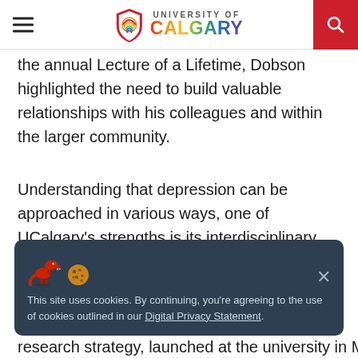University of Calgary
the annual Lecture of a Lifetime, Dobson highlighted the need to build valuable relationships with his colleagues and within the larger community.
Understanding that depression can be approached in various ways, one of UCalgary's strengths is its interdisciplinary model. Kinesiology, nursing, social work, education, medicine and psychology are pushing forward with new perspectives.
This site uses cookies. By continuing, you're agreeing to the use of cookies outlined in our Digital Privacy Statement.
research strategy, launched at the university in May 2015